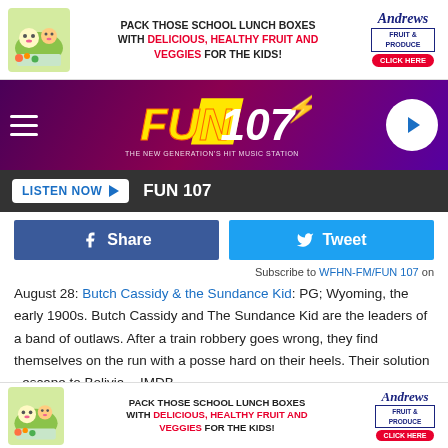[Figure (infographic): Top advertisement banner: Pack those school lunch boxes with delicious, healthy fruit and veggies for the kids! Andrews Fruit & Produce - Click Here]
[Figure (logo): FUN 107 radio station header with logo, hamburger menu, and play button]
[Figure (infographic): Listen Now button bar with FUN 107 text]
[Figure (infographic): Facebook Share and Twitter Tweet buttons]
Subscribe to WFHN-FM/FUN 107 on
August 28: Butch Cassidy & the Sundance Kid: PG; Wyoming, the early 1900s. Butch Cassidy and The Sundance Kid are the leaders of a band of outlaws. After a train robbery goes wrong, they find themselves on the run with a posse hard on their heels. Their solution - escape to Bolivia. - IMDB
[Figure (infographic): Bottom advertisement banner: Pack those school lunch boxes with delicious, healthy fruit and veggies for the kids! Andrews Fruit & Produce - Click Here]